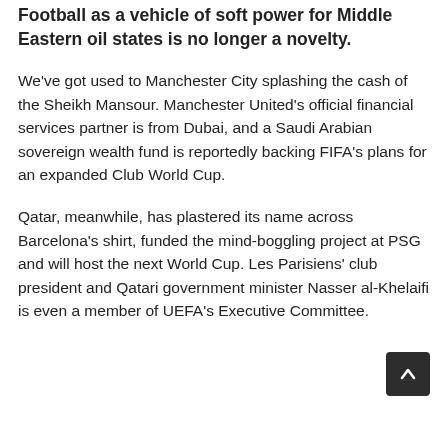Football as a vehicle of soft power for Middle Eastern oil states is no longer a novelty.
We’ve got used to Manchester City splashing the cash of the Sheikh Mansour. Manchester United’s official financial services partner is from Dubai, and a Saudi Arabian sovereign wealth fund is reportedly backing FIFA’s plans for an expanded Club World Cup.
Qatar, meanwhile, has plastered its name across Barcelona’s shirt, funded the mind-boggling project at PSG and will host the next World Cup. Les Parisiens’ club president and Qatari government minister Nasser al-Khelaifi is even a member of UEFA’s Executive Committee.